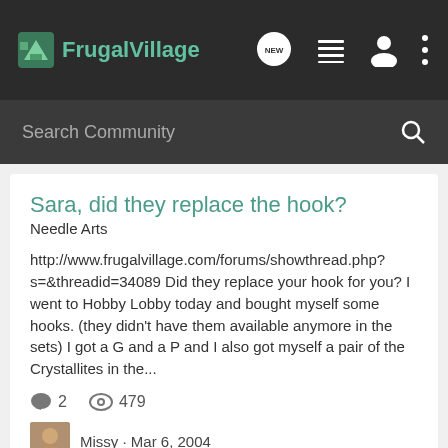FrugalVillage
Sara, did they replace the hook?
Needle Arts
http://www.frugalvillage.com/forums/showthread.php?s=&threadid=34089 Did they replace your hook for you? I went to Hobby Lobby today and bought myself some hooks. (they didn't have them available anymore in the sets) I got a G and a P and I also got myself a pair of the Crystallites in the...
2 replies · 479 views
Missy · Mar 6, 2004
hook  replace  sara